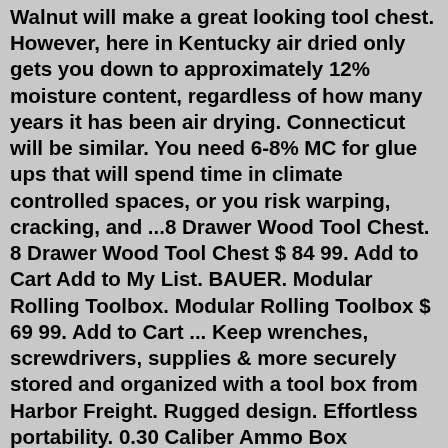Walnut will make a great looking tool chest. However, here in Kentucky air dried only gets you down to approximately 12% moisture content, regardless of how many years it has been air drying. Connecticut will be similar. You need 6-8% MC for glue ups that will spend time in climate controlled spaces, or you risk warping, cracking, and ...8 Drawer Wood Tool Chest. 8 Drawer Wood Tool Chest $ 84 99. Add to Cart Add to My List. BAUER. Modular Rolling Toolbox. Modular Rolling Toolbox $ 69 99. Add to Cart ... Keep wrenches, screwdrivers, supplies & more securely stored and organized with a tool box from Harbor Freight. Rugged design. Effortless portability. 0.30 Caliber Ammo Box ...Vintage Wood Oak Machinist Tool Chest, original felt, great condition, with original key. SKU misc Category Sold Items, Vintage Items & Antiques. Related products. Mobilgas Map Rack. Texaco Thermometer. Coast Peanut Machine.wooden planes; stanley four square tools; lie-nielsen tools; bridge city tool works; record tools; ... screw boxes/taps; leather working tools.